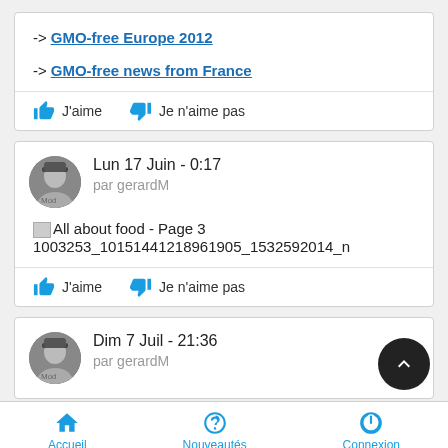-> GMO-free Europe 2012
-> GMO-free news from France
J'aime   Je n'aime pas
Lun 17 Juin - 0:17
par gerardM
[Figure (screenshot): Broken image placeholder followed by text: All about food - Page 3 1003253_10151441218961905_1532592014_n]
J'aime   Je n'aime pas
Dim 7 Juil - 21:36
par gerardM
Accueil   Nouveautés   Connexion